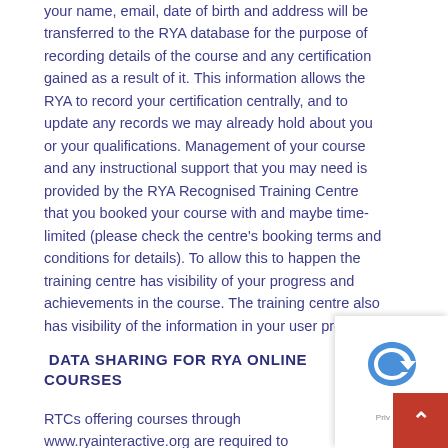your name, email, date of birth and address will be transferred to the RYA database for the purpose of recording details of the course and any certification gained as a result of it. This information allows the RYA to record your certification centrally, and to update any records we may already hold about you or your qualifications. Management of your course and any instructional support that you may need is provided by the RYA Recognised Training Centre that you booked your course with and maybe time-limited (please check the centre's booking terms and conditions for details). To allow this to happen the training centre has visibility of your progress and achievements in the course. The training centre also has visibility of the information in your user profile.
DATA SHARING FOR RYA ONLINE COURSES
RTCs offering courses through www.ryainteractive.org are required to